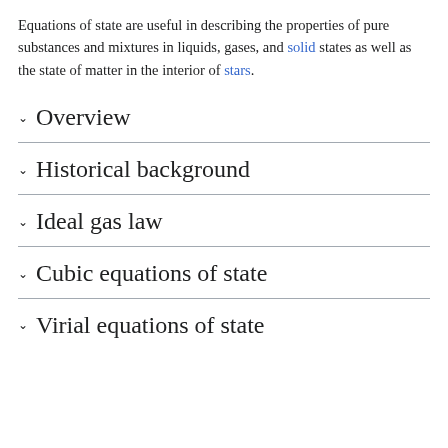Equations of state are useful in describing the properties of pure substances and mixtures in liquids, gases, and solid states as well as the state of matter in the interior of stars.
Overview
Historical background
Ideal gas law
Cubic equations of state
Virial equations of state